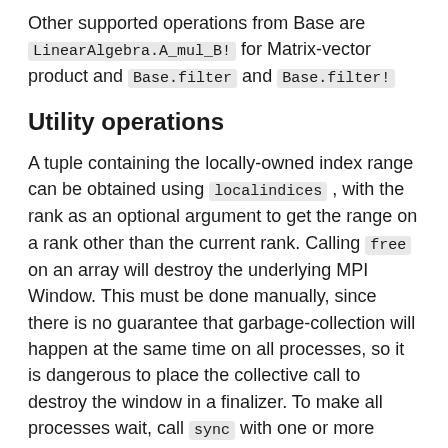Other supported operations from Base are LinearAlgebra.A_mul_B! for Matrix-vector product and Base.filter and Base.filter!
Utility operations
A tuple containing the locally-owned index range can be obtained using localindices , with the rank as an optional argument to get the range on a rank other than the current rank. Calling free on an array will destroy the underlying MPI Window. This must be done manually, since there is no guarantee that garbage-collection will happen at the same time on all processes, so it is dangerous to place the collective call to destroy the window in a finalizer. To make all processes wait, call sync with one or more MPIArrays as argument. Currently this just calls